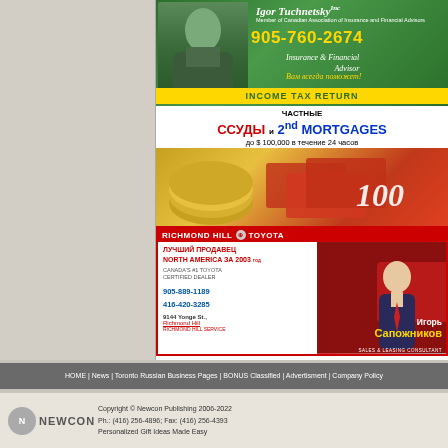[Figure (photo): Advertisement for Igor Tuchnetsky, Insurance & Financial Advisor. Shows phone 905-760-2674, tagline 'Insurance & Financial Advisor', Russian text 'Вам всегда поможет!', and 'INCOME TAX RETURN' bar at bottom.]
[Figure (photo): Advertisement for private loans (ЧАСТНЫЕ ССУДЫ / 2nd MORTGAGES) up to $100,000 within 24 hours. Phone: 416-897-0414. Shows image of coins and money.]
[Figure (photo): Advertisement for Richmond Hill Toyota. Russian text 'ЛУЧШИЙ ПРОДАВЕЦ NORTH AMERICA ЗА 2003'. Canada's #1 Toyota Certified Dealer. Phones: 905-889-1189, 416-420-3285. Address: 9144 Yonge St., Richmond Hill. Sales consultant Игорь Сапожников.]
HOME | News | Toronto Russian Business Pages | BONUS Classified | Advertisment | Company Policy
Copyright © Newcon Publishing 2006-2022
Ph.: (416) 256-4896; Fax: (416) 256-4393
Personalized Gift Ideas Made Easy